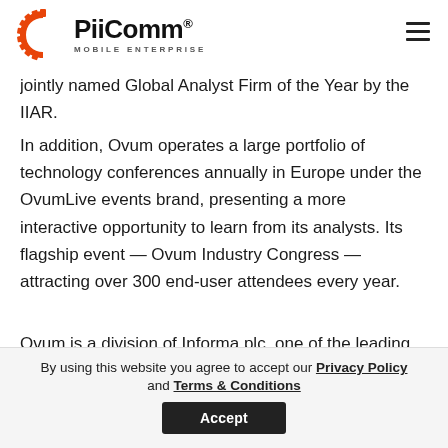[Figure (logo): PiiComm Mobile Enterprise logo with orange semicircle/gear icon and black text]
jointly named Global Analyst Firm of the Year by the IIAR.
In addition, Ovum operates a large portfolio of technology conferences annually in Europe under the OvumLive events brand, presenting a more interactive opportunity to learn from its analysts. Its flagship event — Ovum Industry Congress — attracting over 300 end-user attendees every year.
Ovum is a division of Informa plc, one of the leading
By using this website you agree to accept our Privacy Policy and Terms & Conditions Accept